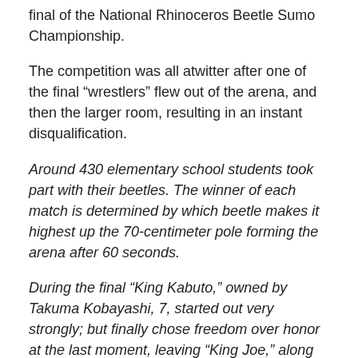final of the National Rhinoceros Beetle Sumo Championship.
The competition was all atwitter after one of the final “wrestlers” flew out of the arena, and then the larger room, resulting in an instant disqualification.
Around 430 elementary school students took part with their beetles. The winner of each match is determined by which beetle makes it highest up the 70-centimeter pole forming the arena after 60 seconds.
During the final “King Kabuto,” owned by Takuma Kobayashi, 7, started out very strongly; but finally chose freedom over honor at the last moment, leaving “King Joe,” along with owner Shoichiro Ito, 6, to scoop the prize.
Clearly, King Kabuto hasn’t seen the epic Sly Stallone /Balboa... victory and courage of WWI...